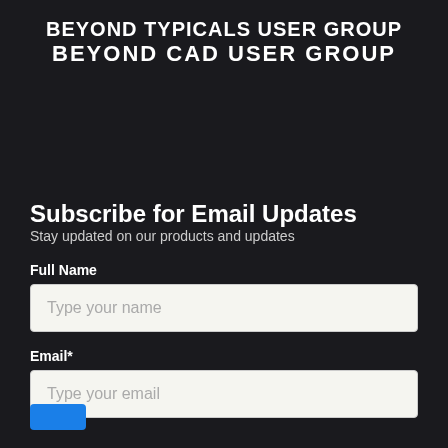BEYOND TYPICALS USER GROUP
BEYOND CAD USER GROUP
Subscribe for Email Updates
Stay updated on our products and updates
Full Name
Type your name
Email*
Type your email